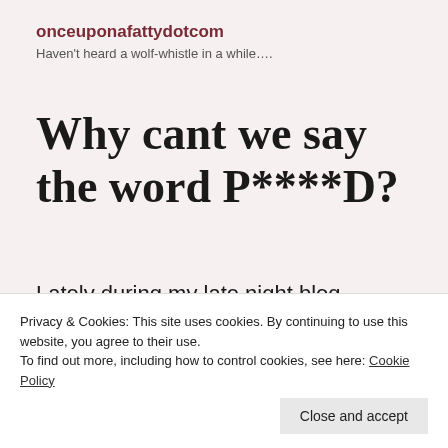onceuponafattydotcom
Haven't heard a wolf-whistle in a while….
Why cant we say the word P****D?
Lately during my late night blog searching, internet stalking and newspaper reading, I have come across a very confusing subject. Why can't anyone seem to call a period a period?
Privacy & Cookies: This site uses cookies. By continuing to use this website, you agree to their use.
To find out more, including how to control cookies, see here: Cookie Policy
Close and accept